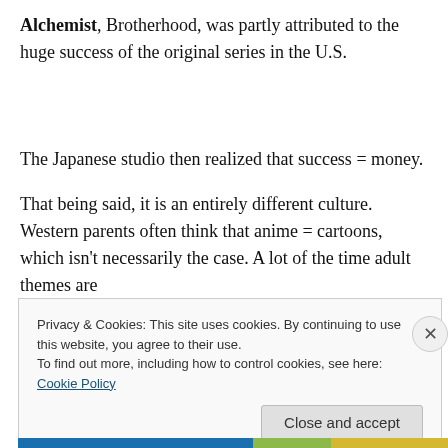Alchemist, Brotherhood, was partly attributed to the huge success of the original series in the U.S.
The Japanese studio then realized that success = money.
That being said, it is an entirely different culture. Western parents often think that anime = cartoons, which isn't necessarily the case. A lot of the time adult themes are
Privacy & Cookies: This site uses cookies. By continuing to use this website, you agree to their use.
To find out more, including how to control cookies, see here: Cookie Policy
Close and accept